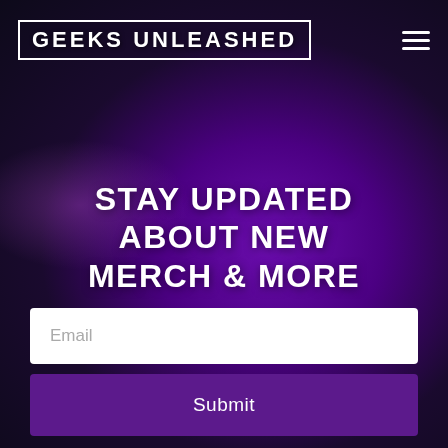GEEKS UNLEASHED
STAY UPDATED ABOUT NEW MERCH & MORE
Email
Submit